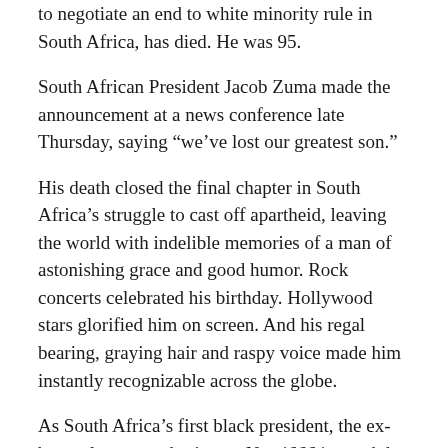to negotiate an end to white minority rule in South Africa, has died. He was 95.
South African President Jacob Zuma made the announcement at a news conference late Thursday, saying “we’ve lost our greatest son.”
His death closed the final chapter in South Africa’s struggle to cast off apartheid, leaving the world with indelible memories of a man of astonishing grace and good humor. Rock concerts celebrated his birthday. Hollywood stars glorified him on screen. And his regal bearing, graying hair and raspy voice made him instantly recognizable across the globe.
As South Africa’s first black president, the ex-boxer, lawyer and prisoner No. 46664 paved the way to racial reconciliation with well-chosen gestures of forgiveness. He